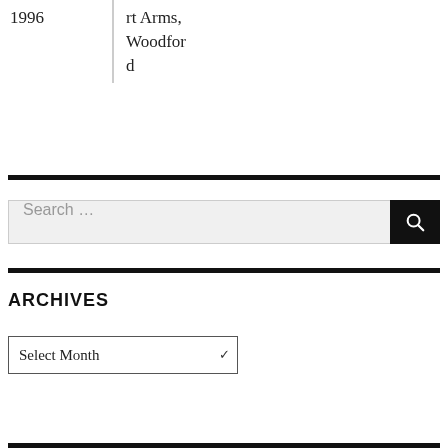| 1996 | rt Arms,
Woodford |
Search ...
ARCHIVES
Select Month